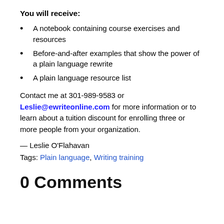You will receive:
A notebook containing course exercises and resources
Before-and-after examples that show the power of a plain language rewrite
A plain language resource list
Contact me at 301-989-9583 or Leslie@ewriteonline.com for more information or to learn about a tuition discount for enrolling three or more people from your organization.
— Leslie O'Flahavan
Tags: Plain language, Writing training
0 Comments